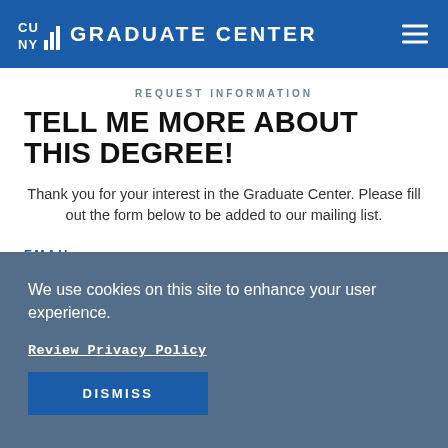CUNY GRADUATE CENTER
REQUEST INFORMATION
TELL ME MORE ABOUT THIS DEGREE!
Thank you for your interest in the Graduate Center. Please fill out the form below to be added to our mailing list.
EMAIL:
We use cookies on this site to enhance your user experience.
Review Privacy Policy
DISMISS